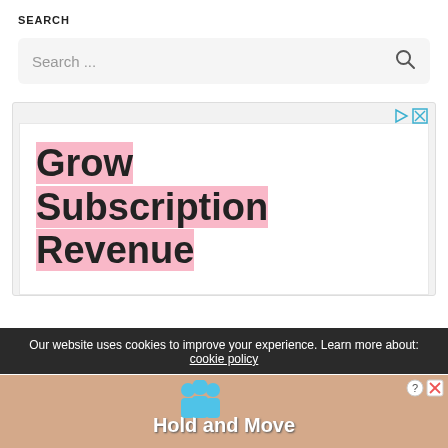SEARCH
Search ...
[Figure (screenshot): Advertisement banner showing 'Grow Subscription Revenue' text with pink highlights, with play and close buttons in top-right corner]
Our website uses cookies to improve your experience. Learn more about: cookie policy
[Figure (screenshot): Bottom advertisement showing cartoon figures and 'Hold and Move' text with close button]